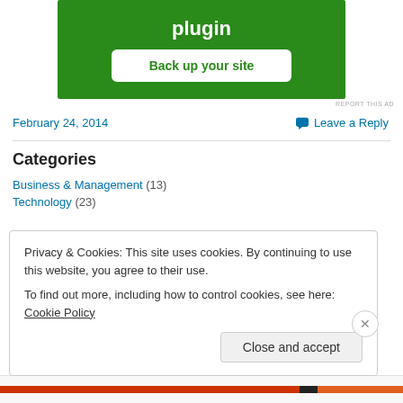[Figure (screenshot): Green advertisement banner for a WordPress plugin with 'plugin' heading and 'Back up your site' button]
REPORT THIS AD
February 24, 2014
Leave a Reply
Categories
Business & Management (13)
Technology (23)
Privacy & Cookies: This site uses cookies. By continuing to use this website, you agree to their use.
To find out more, including how to control cookies, see here: Cookie Policy
Close and accept